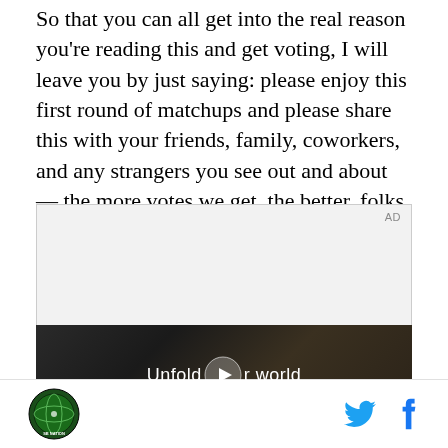So that you can all get into the real reason you're reading this and get voting, I will leave you by just saying: please enjoy this first round of matchups and please share this with your friends, family, coworkers, and any strangers you see out and about — the more votes we get, the better, folks.
[Figure (other): Advertisement placeholder area with 'AD' label in top right corner, light grey background]
[Figure (screenshot): Video thumbnail showing a person in a car holding a Samsung foldable phone, with text overlay 'Unfold your world' and a play button in the center]
[Figure (logo): Footer bar with circular sports logo on left and Twitter and Facebook icons on right]